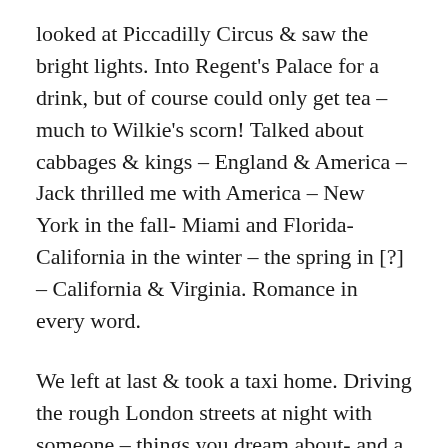looked at Piccadilly Circus & saw the bright lights. Into Regent's Palace for a drink, but of course could only get tea – much to Wilkie's scorn! Talked about cabbages & kings – England & America – Jack thrilled me with America – New York in the fall- Miami and Florida- California in the winter – the spring in [?] – California & Virginia. Romance in every word.
We left at last & took a taxi home. Driving the rough London streets at night with someone – things you dream about- and a man you'd dream about. It didn't seem real it was so lovely – we just drove around the Park & were bumped & shaken. And I was never so happy.